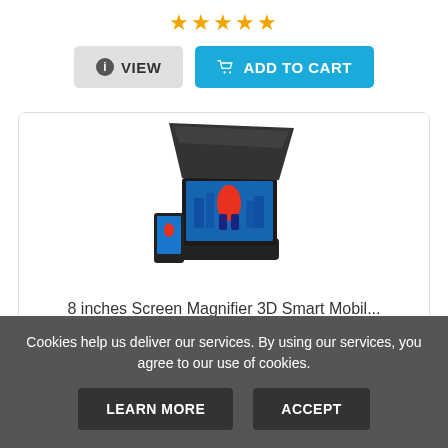[Figure (other): Star rating: 4 out of 5 gold stars]
VIEW | ADD TO CART (buttons)
[Figure (photo): 8 inches Screen Magnifier 3D Smart Mobile phone screen magnifier product image with Spiderman movie displayed]
8 inches Screen Magnifier 3D Smart Mobil...
Cookies help us deliver our services. By using our services, you agree to our use of cookies.
LEARN MORE | ACCEPT (cookie consent buttons)